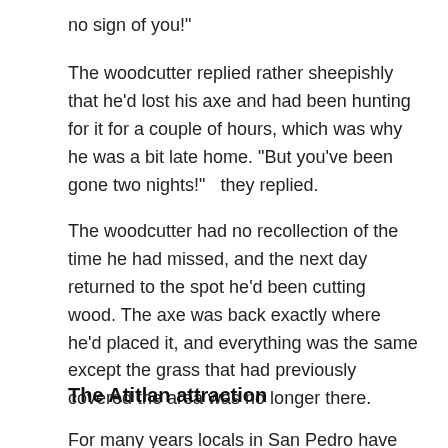no sign of you!"
The woodcutter replied rather sheepishly that he'd lost his axe and had been hunting for it for a couple of hours, which was why he was a bit late home. "But you've been gone two nights!"   they replied.
The woodcutter had no recollection of the time he had missed, and the next day returned to the spot he'd been cutting wood. The axe was back exactly where he'd placed it, and everything was the same except the grass that had previously covered the area was no longer there.
The Atitlan attraction
For many years locals in San Pedro have